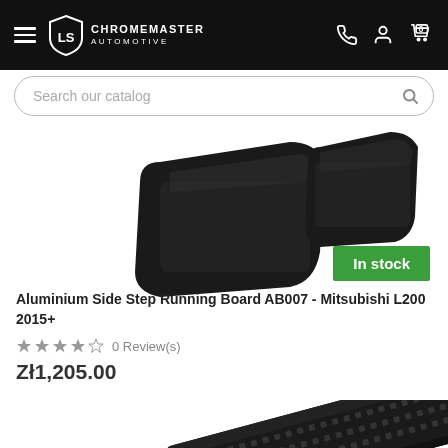ChromeMaster Automotive
Search our catalog
[Figure (photo): Black aluminium side step running board product photo — close-up view of two black steps/pads against white background]
In stock
Aluminium Side Step Running Board AB007 - Mitsubishi L200 2015+
0 Review(s)
Zł1,205.00
[Figure (photo): Black aluminium running board step panel — partial diagonal view showing textured surface and rail structure]